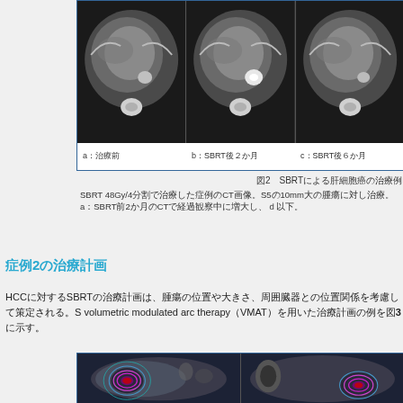[Figure (photo): Three CT scan images side by side: a: pre-treatment, b: 2 months after SBRT, c: 6 months after SBRT. Shows liver CT cross-sections with tumor progression/response.]
図2 SBRTによる肝細胞癌の治療例
SBRT 48Gy/4分割で治療した症例のCT画像。S5の10mm大の腫瘍に対し治療。a：SBRT前2か月のCTで経過観察中に増大し、d以下。
症例2の治療計画
HCCに対するSBRTの治療計画は、腫瘍の位置や大きさ、周囲臓器との位置関係を考慮して策定される。volumetric modulated arc therapy（VMAT）を用いた治療計画の例を図3に示す。
[Figure (photo): CT radiation treatment planning images with dose distribution contours overlaid in pink, red, blue, and cyan colors showing VMAT treatment planning for HCC.]